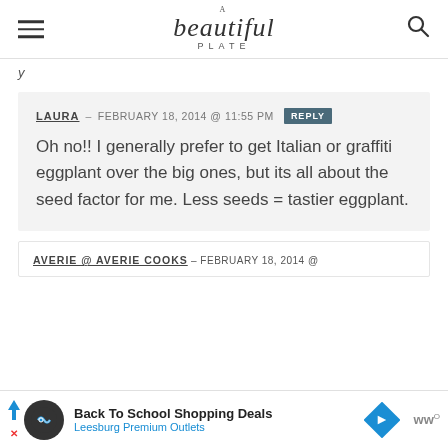A beautiful PLATE
y
LAURA – FEBRUARY 18, 2014 @ 11:55 PM REPLY
Oh no!! I generally prefer to get Italian or graffiti eggplant over the big ones, but its all about the seed factor for me. Less seeds = tastier eggplant.
AVERIE @ AVERIE COOKS – FEBRUARY 18, 2014 @
Back To School Shopping Deals
Leesburg Premium Outlets